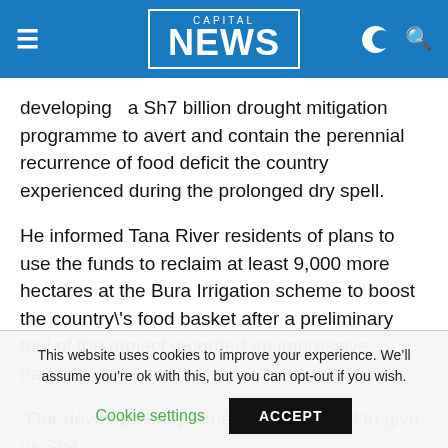CAPITAL NEWS
developing  a Sh7 billion drought mitigation programme to avert and contain the perennial recurrence of food deficit the country experienced during the prolonged dry spell.
He informed Tana River residents of plans to use the funds to reclaim at least 9,000 more hectares at the Bura Irrigation scheme to boost the country\'s food basket after a preliminary trial of the project recorded an impressive harvest.
"Our development partners have offered to give us Sh4 billi...
This website uses cookies to improve your experience. We'll assume you're ok with this, but you can opt-out if you wish.
Cookie settings   ACCEPT